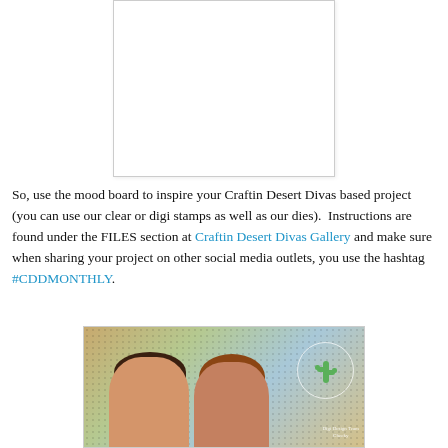[Figure (photo): Mood board image placeholder — white rectangle with thin gray border]
So, use the mood board to inspire your Craftin Desert Divas based project (you can use our clear or digi stamps as well as our dies).  Instructions are found under the FILES section at Craftin Desert Divas Gallery and make sure when sharing your project on other social media outlets, you use the hashtag #CDDMONTHLY.
[Figure (photo): Photo showing crafted greeting cards with illustrated portraits of two people (girl and boy), overlapping on a colorful background with a cactus watermark logo in the corner]